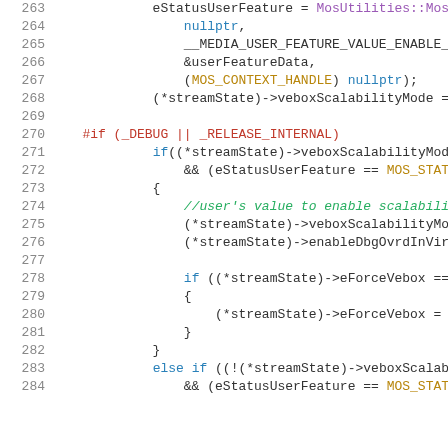[Figure (screenshot): Source code viewer showing C++ code lines 263-284, with syntax highlighting. Line numbers in gray on left, code with colored keywords on right.]